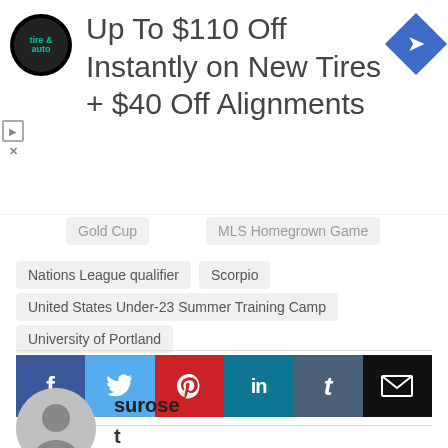[Figure (screenshot): Advertisement banner for tire and auto service offering up to $110 off on new tires and $40 off alignments, with tire & auto logo and navigation icon]
Gold Cup
MLS Homegrown Game
Nations League qualifier
Scorpio
United States Under-23 Summer Training Camp
University of Portland
[Figure (infographic): Social share buttons row: Facebook (blue), Twitter (light blue), Pinterest (red), LinkedIn (teal), Tumblr (dark blue-gray), Email (black)]
surose
t